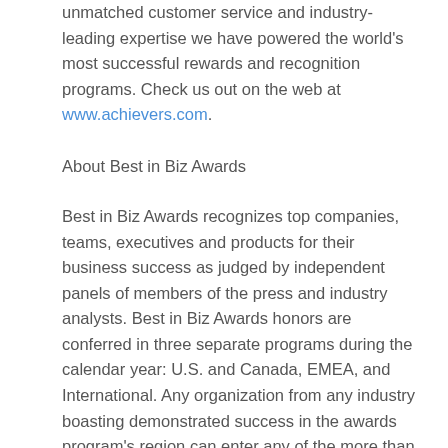unmatched customer service and industry-leading expertise we have powered the world's most successful rewards and recognition programs. Check us out on the web at www.achievers.com.
About Best in Biz Awards
Best in Biz Awards recognizes top companies, teams, executives and products for their business success as judged by independent panels of members of the press and industry analysts. Best in Biz Awards honors are conferred in three separate programs during the calendar year: U.S. and Canada, EMEA, and International. Any organization from any industry boasting demonstrated success in the awards program's region can enter any of the more than 50 company, department or team, executive and product categories. Entries for Best in Biz Awards 2013 EMEA are being accepted from all companies based in or operating in Europe, Middle East and Africa until